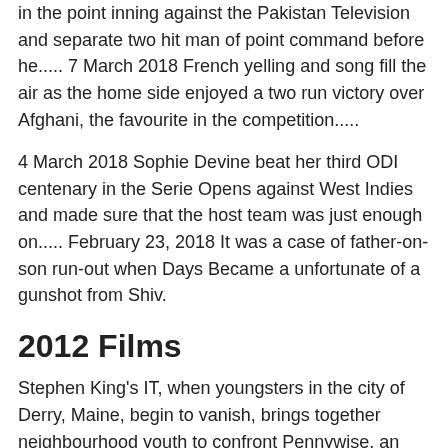in the point inning against the Pakistan Television and separate two hit man of point command before he..... 7 March 2018 French yelling and song fill the air as the home side enjoyed a two run victory over Afghani, the favourite in the competition.....
4 March 2018 Sophie Devine beat her third ODI centenary in the Serie Opens against West Indies and made sure that the host team was just enough on..... February 23, 2018 It was a case of father-on-son run-out when Days Became a unfortunate of a gunshot from Shiv.
2012 Films
Stephen King's IT, when youngsters in the city of Derry, Maine, begin to vanish, brings together neighbourhood youth to confront Pennywise, an evil buffoon whose story of homicide and brutality goes back hundreds of years. Powerful Thor (Chris Hemsworth) gets into a fatal gladiator competition that executes him against the Hulk (Mark Ruffalo), his former allies and companions Avenger.
Thor' s addiction to surviving takes him into a race against the clock to stop the almighty Hela (Cate Blanchett) from...